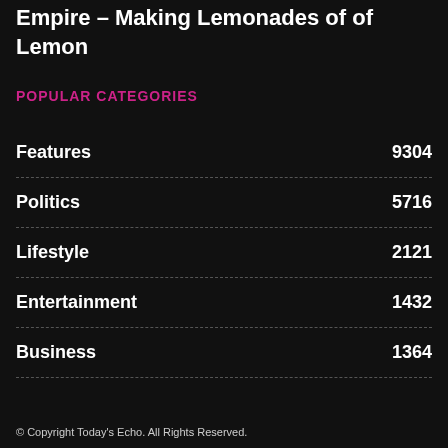Empire – Making Lemonades of of Lemon
POPULAR CATEGORIES
Features 9304
Politics 5716
Lifestyle 2121
Entertainment 1432
Business 1364
© Copyright Today's Echo. All Rights Reserved.